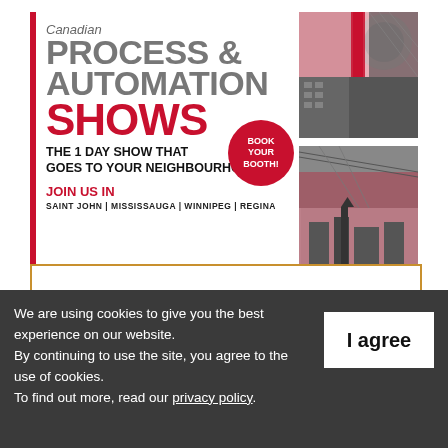[Figure (illustration): Canadian Process & Automation Shows advertisement banner. Features large gray and red bold text, a red vertical bar on left, photo collage on right side showing industrial and city imagery in black-and-white with red tones, and a red circular 'BOOK YOUR BOOTH!' badge.]
We are using cookies to give you the best experience on our website.
By continuing to use the site, you agree to the use of cookies.
To find out more, read our privacy policy.
I agree